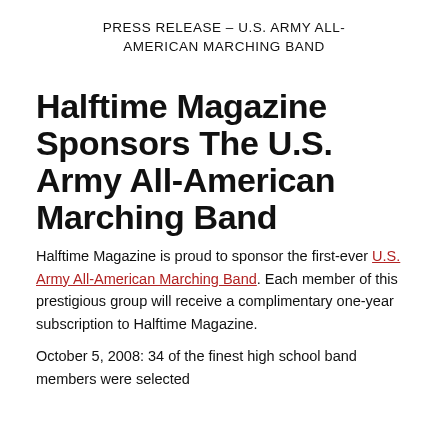PRESS RELEASE – U.S. ARMY ALL-AMERICAN MARCHING BAND
Halftime Magazine Sponsors The U.S. Army All-American Marching Band
Halftime Magazine is proud to sponsor the first-ever U.S. Army All-American Marching Band. Each member of this prestigious group will receive a complimentary one-year subscription to Halftime Magazine.
October 5, 2008: 34 of the finest high school band members were selected